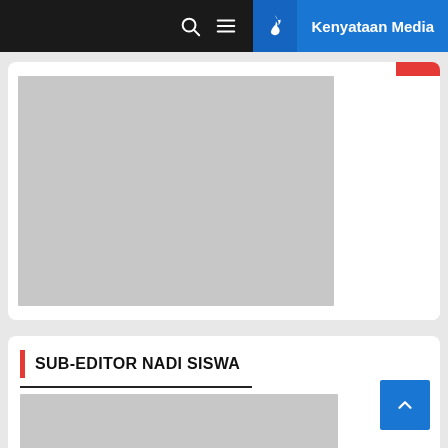Kenyataan Media
[Figure (photo): Large grey image placeholder in first article card]
SUB-EDITOR NADI SISWA
[Figure (photo): Grey image placeholder in sub-editor section card]